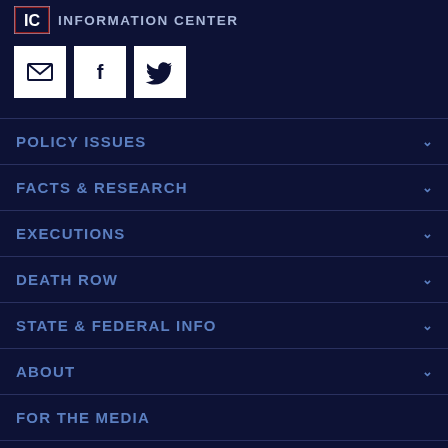INFORMATION CENTER
[Figure (logo): Email, Facebook, and Twitter social share icons (white squares with dark icons)]
POLICY ISSUES
FACTS & RESEARCH
EXECUTIONS
DEATH ROW
STATE & FEDERAL INFO
ABOUT
FOR THE MEDIA
RESOURCES